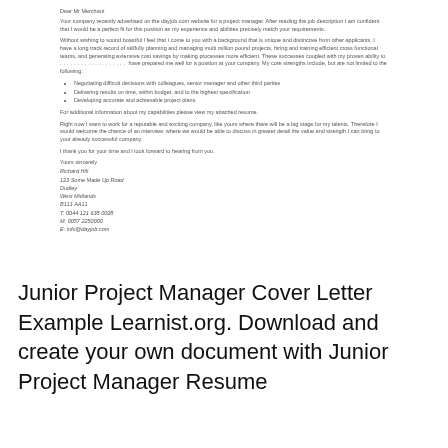Dear Mr Merchant
Your company recently advertised on the dayjob.com website for a project manager. After reading the job description I am confident that I would be a perfect fit for this position as my experience and abilities precisely match your requirements.
Without wishing to sound boastful I feel that I come to you with a background that is unique and distinctive from other applicants. I have a long track record of skilfully planning and managing multi million pound projects, hiring and training efficient cross functional teams, and generating extensive cost savings by making processes more efficient. These successes coupled with my proven ability to .................. have prepared me well for a position at your company. My core strengths include, but are not limited to the following:
Negotiating difficult decisions with colleagues, senior manager and other third parties
Delivering results on time, within budget, and to the highest specification
Developing accurate and achievable project plans
For additional information about my capabilities please view my attached resume.
Right now I want to work for a reputable and exciting company, like yours where there will be a big stage for my talents. Therefore I would welcome the chance of an interview, where we would be able to discuss in greater detail the value and strength I can bring to your already successful company.
I thank you for your time and I look forward to hearing from you.
Yours sincerely
Richard Hill
123 Some Made Up Road
Dudley
West Midlands
B111 AA11
T: 0044 121 638 0028
M: 0057 2250000
E: info@dayjob.com
Junior Project Manager Cover Letter Example Learnist.org. Download and create your own document with Junior Project Manager Resume